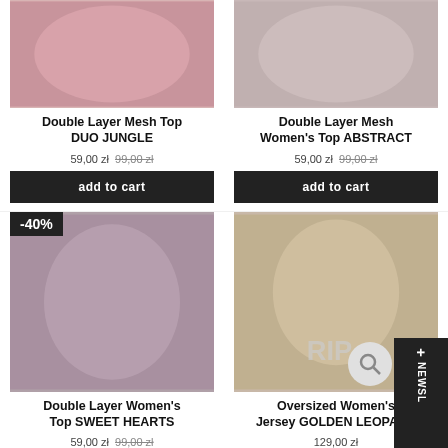[Figure (photo): Top portion of two product photos cropped at the top of the page]
Double Layer Mesh Top DUO JUNGLE
59,00 zł 99,00 zł (strikethrough)
add to cart
Double Layer Mesh Women's Top ABSTRACT
59,00 zł 99,00 zł (strikethrough)
add to cart
[Figure (photo): Woman with long dark hair wearing blue patterned top, -40% badge visible]
[Figure (photo): Blonde woman wearing leopard print jersey with RIP graphic]
Double Layer Women's Top SWEET HEARTS
59,00 zł 99,00 zł (strikethrough)
add to cart
Oversized Women's Jersey GOLDEN LEOPARD
129,00 zł
add to cart